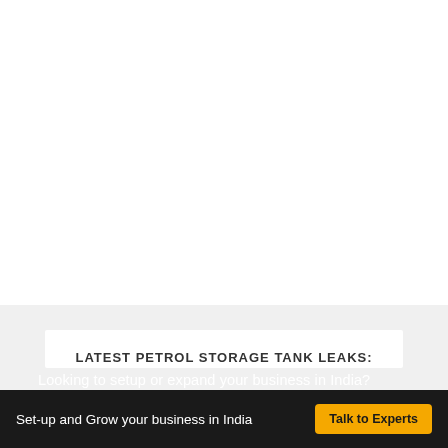[Figure (other): White blank area occupying the upper portion of the page]
LATEST PETROL STORAGE TANK LEAKS:
Looking to setup or expand your business in India?
Set-up and Grow your business in India  Talk to Experts